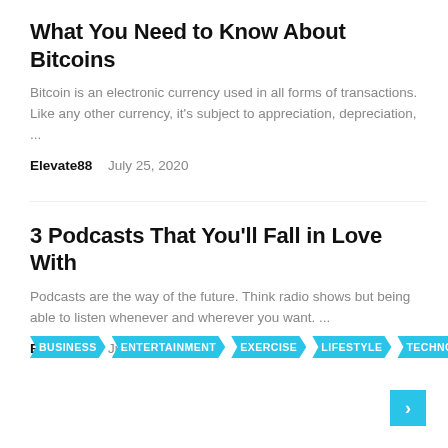What You Need to Know About Bitcoins
Bitcoin is an electronic currency used in all forms of transactions. Like any other currency, it's subject to appreciation, depreciation, ...
Elevate88   July 25, 2020
3 Podcasts That You'll Fall in Love With
Podcasts are the way of the future. Think radio shows but being able to listen whenever and wherever you want. ...
Elevate88   July 10, 2020
BUSINESS
ENTERTAINMENT
EXERCISE
LIFESTYLE
TECHNOLOGY